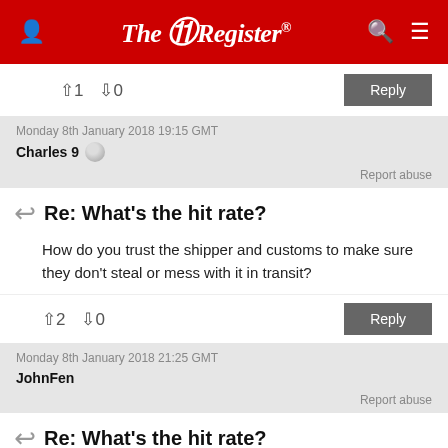The Register
↑1  ↓0
Reply
Monday 8th January 2018 19:15 GMT
Charles 9
Report abuse
Re: What's the hit rate?
How do you trust the shipper and customs to make sure they don't steal or mess with it in transit?
↑2  ↓0
Reply
Monday 8th January 2018 21:25 GMT
JohnFen
Report abuse
Re: What's the hit rate?
It's pretty easy to detect tampering (including just